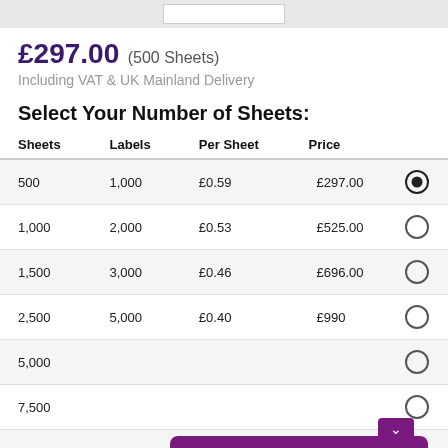[Figure (screenshot): Top gray strip with white rectangle element]
£297.00 (500 Sheets)
Including VAT & UK Mainland Delivery
Select Your Number of Sheets:
| Sheets | Labels | Per Sheet | Price |  |
| --- | --- | --- | --- | --- |
| 500 | 1,000 | £0.59 | £297.00 | ● |
| 1,000 | 2,000 | £0.53 | £525.00 | ○ |
| 1,500 | 3,000 | £0.46 | £696.00 | ○ |
| 2,500 | 5,000 | £0.40 | £990... | ○ |
| 5,000 |  |  |  | ○ |
| 7,500 |  |  |  | ○ |
| 10,000 |  |  |  | ○ |
Were you able to find the information you were looking for?
Reply